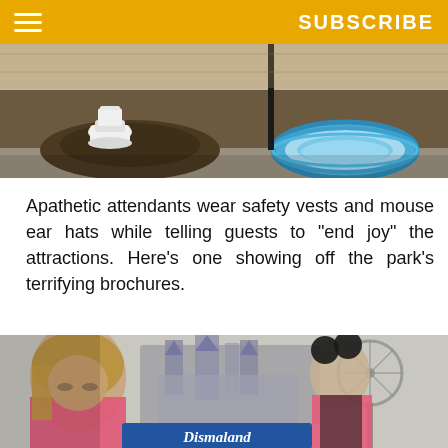SUBSCRIBE
[Figure (photo): Outdoor scene with a white ceramic toilet placed on a dirt mound and a blue inflatable kiddie pool on the right, on a paved surface with a brick wall in the background.]
Apathetic attendants wear safety vests and mouse ear hats while telling guests to "end joy" the attractions. Here's one showing off the park's terrifying brochures.
[Figure (photo): Two people in pink safety vests and black mouse-ear hats stand in front of a blurred fairytale castle and ferris wheel. In the foreground a woman looks down apathetically. A 'Dismaland' sign is visible at the bottom.]